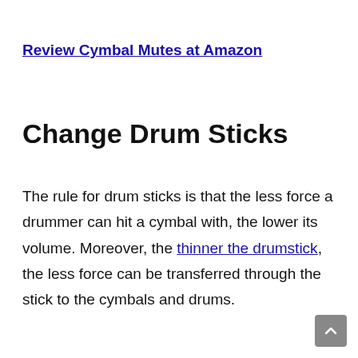Review Cymbal Mutes at Amazon
Change Drum Sticks
The rule for drum sticks is that the less force a drummer can hit a cymbal with, the lower its volume. Moreover, the thinner the drumstick, the less force can be transferred through the stick to the cymbals and drums.